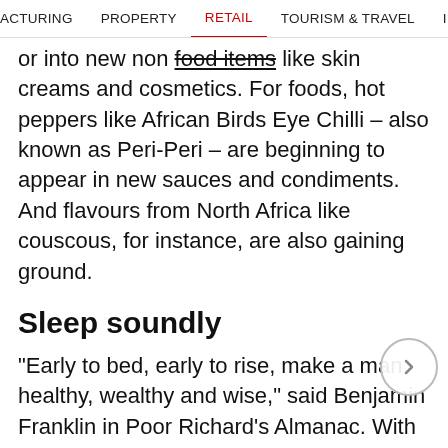ACTURING   PROPERTY   RETAIL   TOURISM & TRAVEL   INTERNATIONAL
or into new non food items like skin creams and cosmetics. For foods, hot peppers like African Birds Eye Chilli – also known as Peri-Peri – are beginning to appear in new sauces and condiments. And flavours from North Africa like couscous, for instance, are also gaining ground.
Sleep soundly
“Early to bed, early to rise, make a man healthy, wealthy and wise,” said Benjamin Franklin in Poor Richard’s Almanac. With nearly 13% of Americans leaving for work before 6:00 am (up from 9% as recently as 1990), most have mastered “early to rise”. “Early to bed” is a different animal and as research shows a link between lack of sleep and obesity, look for a growing market